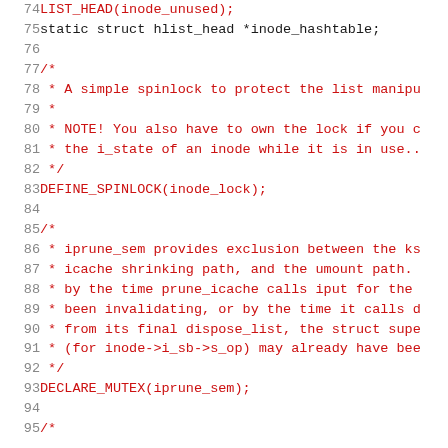[Figure (screenshot): Source code listing (C language) showing lines 74–95 of a Linux kernel inode file. Lines 74–75 show LIST_HEAD and static struct declarations. Lines 77–83 show a spinlock comment block and DEFINE_SPINLOCK. Lines 85–93 show iprune_sem comment block and DECLARE_MUTEX. Line 94 is blank. Line 95 starts another comment.]